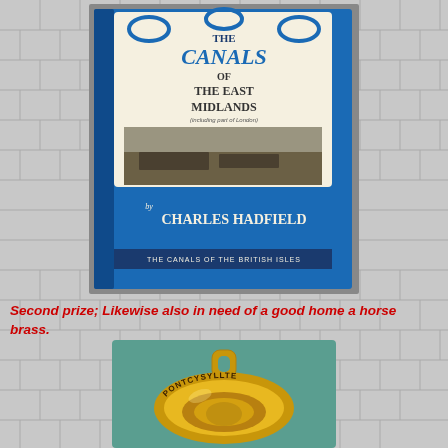[Figure (photo): Photo of a book: 'The Canals of the East Midlands (including part of London)' by Charles Hadfield, part of 'The Canals of the British Isles' series. Blue and white dust jacket with decorative scrollwork and a black-and-white photograph of canal boats.]
Second prize; Likewise also in need of a good home a horse brass.
[Figure (photo): Photo of a brass horse brass with the text 'PONTCYSYLLTE' engraved on it. The brass is gold/yellow colored on a teal/green background.]